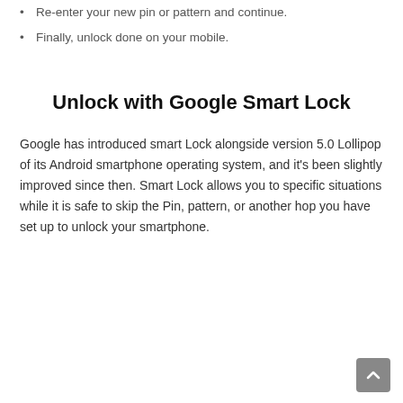Re-enter your new pin or pattern and continue.
Finally, unlock done on your mobile.
Unlock with Google Smart Lock
Google has introduced smart Lock alongside version 5.0 Lollipop of its Android smartphone operating system, and it's been slightly improved since then. Smart Lock allows you to specific situations while it is safe to skip the Pin, pattern, or another hop you have set up to unlock your smartphone.